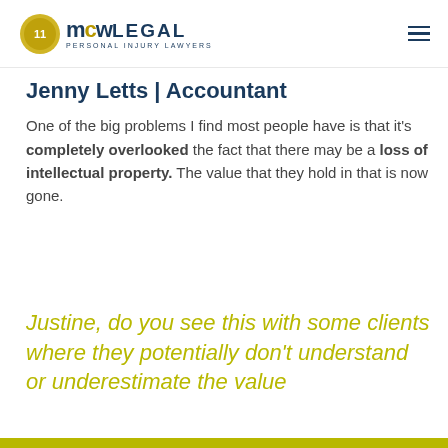[Figure (logo): MW Legal Personal Injury Lawyers logo with gold badge/medal icon on the left and 'mw LEGAL PERSONAL INJURY LAWYERS' text]
Jenny Letts | Accountant
One of the big problems I find most people have is that it's completely overlooked the fact that there may be a loss of intellectual property. The value that they hold in that is now gone.
Justine, do you see this with some clients where they potentially don't understand or underestimate the value